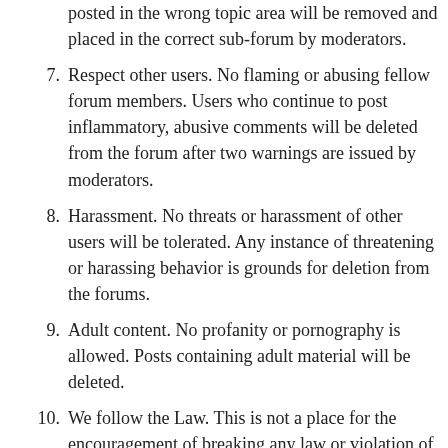posted in the wrong topic area will be removed and placed in the correct sub-forum by moderators.
7. Respect other users. No flaming or abusing fellow forum members. Users who continue to post inflammatory, abusive comments will be deleted from the forum after two warnings are issued by moderators.
8. Harassment. No threats or harassment of other users will be tolerated. Any instance of threatening or harassing behavior is grounds for deletion from the forums.
9. Adult content. No profanity or pornography is allowed. Posts containing adult material will be deleted.
10. We follow the Law. This is not a place for the encouragement of breaking any law or violation of property or other rights. No illegal